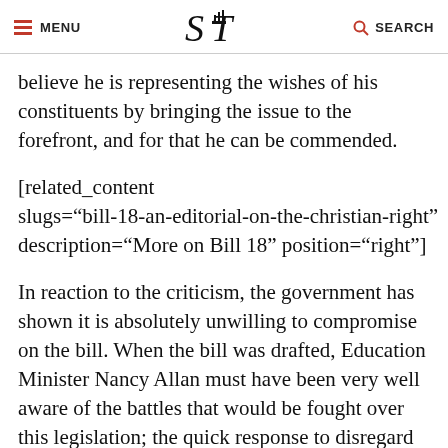MENU | S T | SEARCH
believe he is representing the wishes of his constituents by bringing the issue to the forefront, and for that he can be commended.
[related_content slugs="bill-18-an-editorial-on-the-christian-right" description="More on Bill 18" position="right"]
In reaction to the criticism, the government has shown it is absolutely unwilling to compromise on the bill. When the bill was drafted, Education Minister Nancy Allan must have been very well aware of the battles that would be fought over this legislation; the quick response to disregard the opposition to the bill would demonstrate that the government clearly believes its position is on the right side of public opinion on the issue.